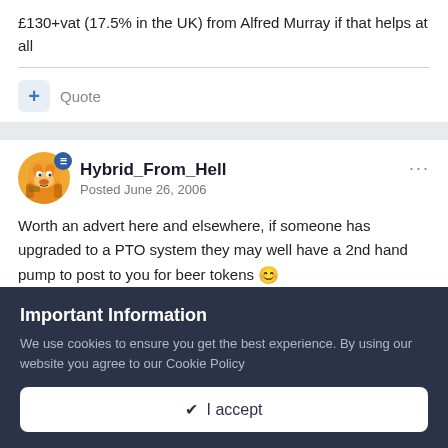£130+vat (17.5% in the UK) from Alfred Murray if that helps at all
Quote
Hybrid_From_Hell
Posted June 26, 2006
Worth an advert here and elsewhere, if someone has upgraded to a PTO system they may well have a 2nd hand pump to post to you for beer tokens 😊

Nige
Important Information
We use cookies to ensure you get the best experience. By using our website you agree to our Cookie Policy
✔ I accept